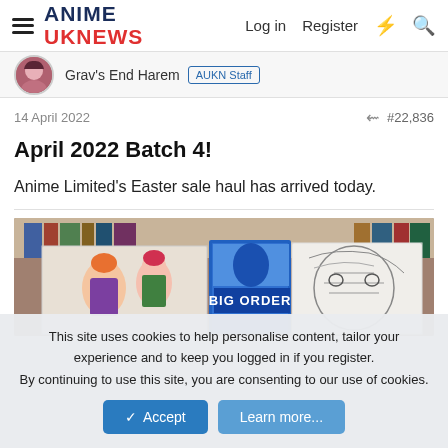ANIME UKNEWS — Log in   Register
Grav's End Harem  AUKN Staff
14 April 2022   #22,836
April 2022 Batch 4!
Anime Limited's Easter sale haul has arrived today.
[Figure (photo): Photo of anime Blu-ray box sets including 'BIG ORDER' displayed in front of a bookshelf.]
This site uses cookies to help personalise content, tailor your experience and to keep you logged in if you register.
By continuing to use this site, you are consenting to our use of cookies.